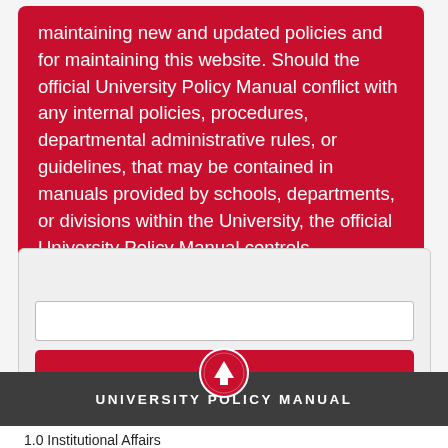maintaining new and updated policies and for maintaining this website. Should the official University Policy Manual conflict with any internal policies, procedures, departmental administrative rules, or guidelines, that may be contained in manuals provided by schools, departments, or divisions within the University, the official University Policy Manual controls.
Search policies
[Figure (screenshot): Search input box (empty text field) followed by a red Search button]
[Figure (illustration): Circular up-arrow icon in crimson/white, overlapping the top of the dark navigation bar]
UNIVERSITY POLICY MANUAL
1.0 Institutional Affairs